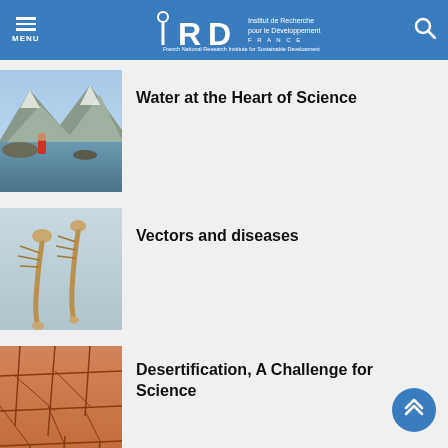MENU | IRD Institut de Recherche pour le Développement France | French National Research Institute for Sustainable Development
Water at the Heart of Science
Vectors and diseases
Desertification, A Challenge for Science